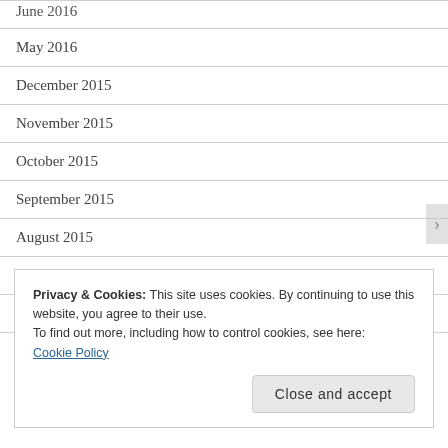June 2016
May 2016
December 2015
November 2015
October 2015
September 2015
August 2015
July 2015
June 2015
Privacy & Cookies: This site uses cookies. By continuing to use this website, you agree to their use.
To find out more, including how to control cookies, see here: Cookie Policy
Close and accept